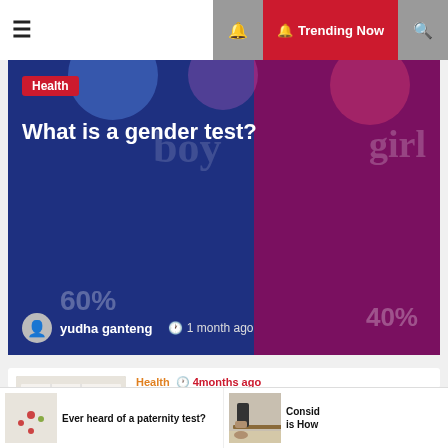☰  🔔 Trending Now 🔍
[Figure (photo): Hero banner for health article 'What is a gender test?' with boy/girl percentage background, dark blue and magenta split, author yudha ganteng, 1 month ago]
What is a gender test?
yudha ganteng  🕐 1 month ago
[Figure (photo): Thumbnail image of a medical/genetics chart for paternity test article]
Health  🕐 4months ago
Ever heard of a paternity test?
[Figure (photo): Thumbnail image of a person examining their knee, sitting on a bench]
Health  🕐 7 months ago
Considering Knee Replacement? Here is How...
Ever heard of a paternity test?   Consid is How